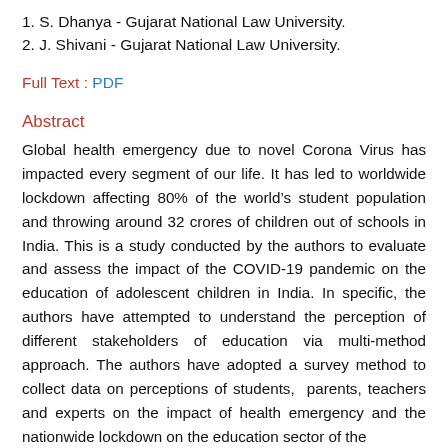1. S. Dhanya - Gujarat National Law University.
2. J. Shivani - Gujarat National Law University.
Full Text : PDF
Abstract
Global health emergency due to novel Corona Virus has impacted every segment of our life. It has led to worldwide lockdown affecting 80% of the world’s student population and throwing around 32 crores of children out of schools in India. This is a study conducted by the authors to evaluate and assess the impact of the COVID-19 pandemic on the education of adolescent children in India. In specific, the authors have attempted to understand the perception of different stakeholders of education via multi-method approach. The authors have adopted a survey method to collect data on perceptions of students, parents, teachers and experts on the impact of health emergency and the nationwide lockdown on the education sector of the